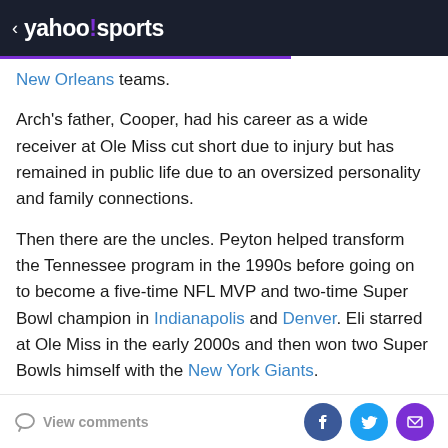< yahoo!sports
New Orleans teams.
Arch's father, Cooper, had his career as a wide receiver at Ole Miss cut short due to injury but has remained in public life due to an oversized personality and family connections.
Then there are the uncles. Peyton helped transform the Tennessee program in the 1990s before going on to become a five-time NFL MVP and two-time Super Bowl champion in Indianapolis and Denver. Eli starred at Ole Miss in the early 2000s and then won two Super Bowls himself with the New York Giants.
All of the above are regulars in national television
View comments